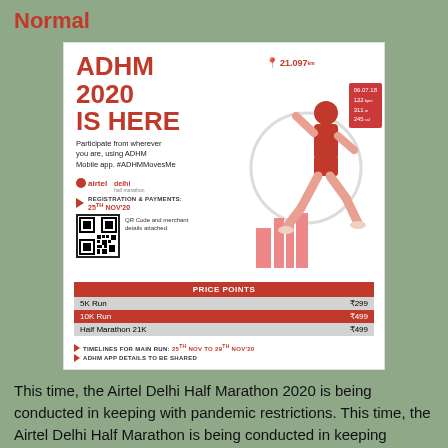Normal
[Figure (infographic): ADHM 2020 IS HERE event flyer for Airtel Delhi Half Marathon. Shows a runner graphic, registration details, QR code, price points table (5K Run ₹299, 10K Run ₹499, Half Marathon 21K ₹499), timelines, and logos.]
This time, the Airtel Delhi Half Marathon 2020 is being conducted in keeping with pandemic restrictions. This time, the Airtel Delhi Half Marathon is being conducted in keeping